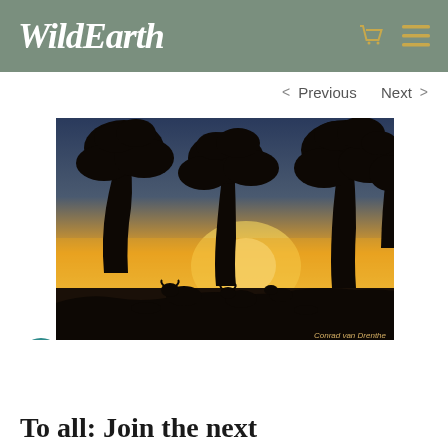WildEarth
< Previous   Next >
[Figure (photo): Silhouetted trees and animals (buffalo/cattle) against a golden-yellow sunset sky, African savanna landscape. Photo credit: Conrad van Drenthe]
To all: Join the next